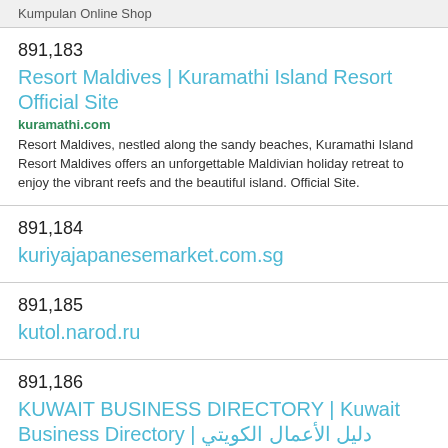Kumpulan Online Shop
891,183
Resort Maldives | Kuramathi Island Resort Official Site
kuramathi.com
Resort Maldives, nestled along the sandy beaches, Kuramathi Island Resort Maldives offers an unforgettable Maldivian holiday retreat to enjoy the vibrant reefs and the beautiful island. Official Site.
891,184
kuriyajapanesemarket.com.sg
891,185
kutol.narod.ru
891,186
KUWAIT BUSINESS DIRECTORY | Kuwait Business Directory | دليل الأعمال الكويتي
kuwaitlisting.com
Kuwait Listing Business directory website, an easy way to use index of all the services you are ever likely to be in need if you live or